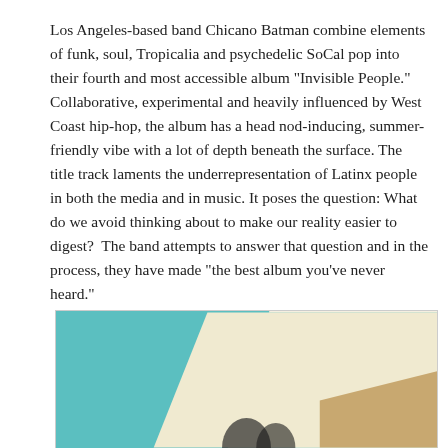Los Angeles-based band Chicano Batman combine elements of funk, soul, Tropicalia and psychedelic SoCal pop into their fourth and most accessible album “Invisible People.” Collaborative, experimental and heavily influenced by West Coast hip-hop, the album has a head nod-inducing, summer-friendly vibe with a lot of depth beneath the surface. The title track laments the underrepresentation of Latinx people in both the media and in music. It poses the question: What do we avoid thinking about to make our reality easier to digest? The band attempts to answer that question and in the process, they have made “the best album you’ve never heard.”
[Figure (photo): Partial view of a photograph showing a teal/turquoise background with a cream diagonal element and figures partially visible at the bottom, appearing to be album or promotional imagery for Chicano Batman.]